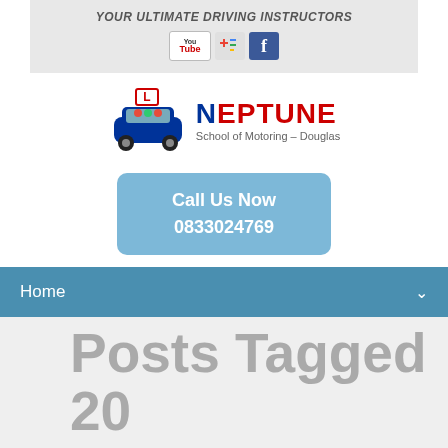YOUR ULTIMATE DRIVING INSTRUCTORS
[Figure (logo): Neptune School of Motoring - Douglas logo with car icon and L-plate]
Call Us Now
0833024769
Home
Posts Tagged 20 min full body